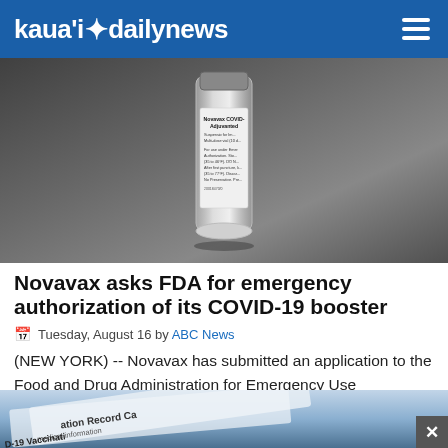kaua'i daily news
[Figure (photo): A Novavax COVID-19 Adjuvanted vaccine vial on a dark surface]
Novavax asks FDA for emergency authorization of its COVID-19 booster
Tuesday, August 16 by ABC News
(NEW YORK) -- Novavax has submitted an application to the Food and Drug Administration for Emergency Use Authorization of its COVID-19 vaccine as a... Read More.
[Figure (photo): COVID-19 Vaccination Record Card document, partially visible]